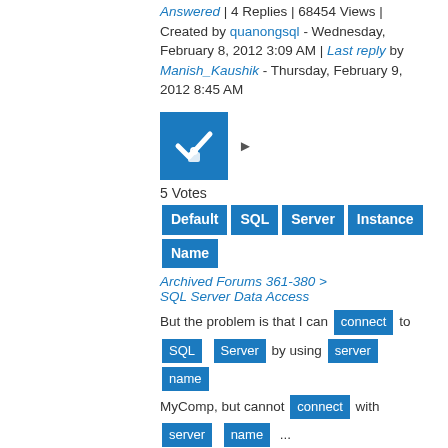Answered | 4 Replies | 68454 Views | Created by quanongsql - Wednesday, February 8, 2012 3:09 AM | Last reply by Manish_Kaushik - Thursday, February 9, 2012 8:45 AM
[Figure (other): Blue checkbox icon with checkmark and lock symbol]
5 Votes
Default SQL Server Instance Name
Archived Forums 361-380 > SQL Server Data Access
But the problem is that I can connect to SQL Server by using server name MyComp, but cannot connect with server name ...
Answered | 10 Replies | 3334 Views | Created by chcw - Wednesday, July 2, 2014 4:52 PM | Last reply by Dan Guzman - Friday, July 4, 2014 3:15 PM
[Figure (other): Blue checkbox icon with checkmark and lock symbol]
0 Votes
Connection failed SQL